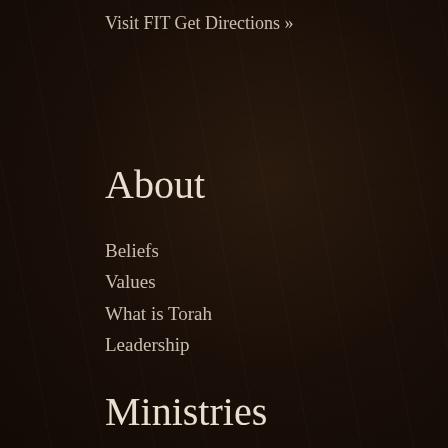Visit FIT
Get Directions »
About
Beliefs
Values
What is Torah
Leadership
Ministries
FIT Kidz
FIT Youth
Young Adults
Women's
Men's
Outreach